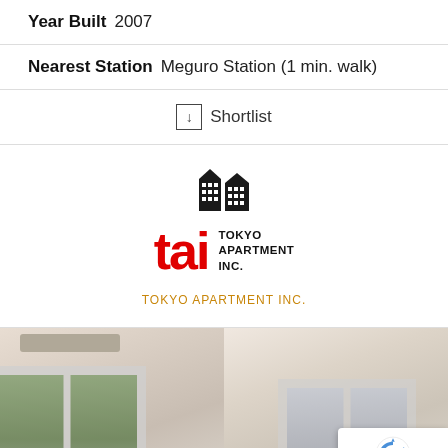Year Built 2007
Nearest Station Meguro Station (1 min. walk)
↓ Shortlist
[Figure (logo): Tokyo Apartment Inc. logo with building icon, red 'tai' text and black 'TOKYO APARTMENT INC.' text]
TOKYO APARTMENT INC.
[Figure (photo): Interior photo of an apartment room showing large sliding glass windows/doors with white frames, light-colored walls, and glimpse of outdoor greenery. An air conditioning unit is visible near the top.]